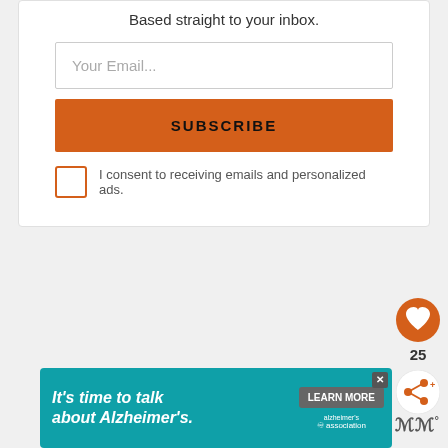Based straight to your inbox.
Your Email...
SUBSCRIBE
I consent to receiving emails and personalized ads.
[Figure (other): Orange heart/like button circle icon]
25
[Figure (other): Share button circle icon]
[Figure (other): Advertisement banner: It's time to talk about Alzheimer's. with Learn More button and Alzheimer's Association logo]